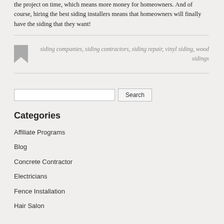the project on time, which means more money for homeowners. And of course, hiring the best siding installers means that homeowners will finally have the siding that they want!
siding companies, siding contractors, siding repair, vinyl siding, wood sidings
Search
Categories
Affiliate Programs
Blog
Concrete Contractor
Electricians
Fence Installation
Hair Salon